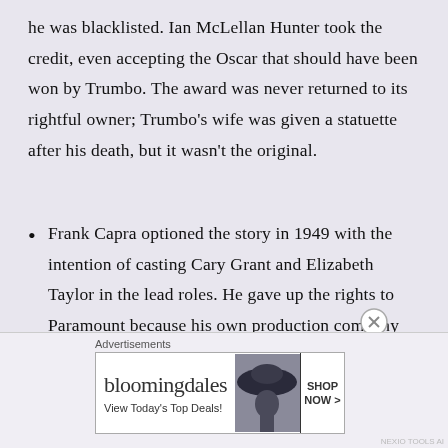he was blacklisted. Ian McLellan Hunter took the credit, even accepting the Oscar that should have been won by Trumbo. The award was never returned to its rightful owner; Trumbo's wife was given a statuette after his death, but it wasn't the original.
Frank Capra optioned the story in 1949 with the intention of casting Cary Grant and Elizabeth Taylor in the lead roles. He gave up the rights to Paramount because his own production company was struggling financially, and he was replaced as director because he was worried about working
Advertisements
[Figure (other): Bloomingdale's advertisement banner with logo, 'View Today's Top Deals!' text, a woman in a wide-brim hat, and a 'SHOP NOW >' button]